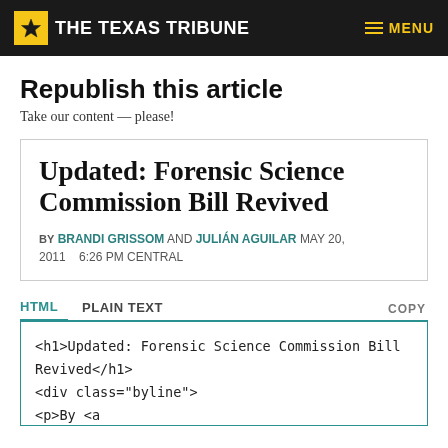THE TEXAS TRIBUNE — MENU
Republish this article
Take our content — please!
Updated: Forensic Science Commission Bill Revived
BY BRANDI GRISSOM AND JULIÁN AGUILAR  MAY 20, 2011  6:26 PM CENTRAL
HTML  PLAIN TEXT  COPY
<h1>Updated: Forensic Science Commission Bill Revived</h1>
<div class="byline">
<p>By <a